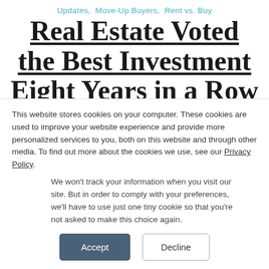Updates,   Move-Up Buyers,   Rent vs. Buy
Real Estate Voted the Best Investment Eight Years in a Row
— — —
This website stores cookies on your computer. These cookies are used to improve your website experience and provide more personalized services to you, both on this website and through other media. To find out more about the cookies we use, see our Privacy Policy.
We won't track your information when you visit our site. But in order to comply with your preferences, we'll have to use just one tiny cookie so that you're not asked to make this choice again.